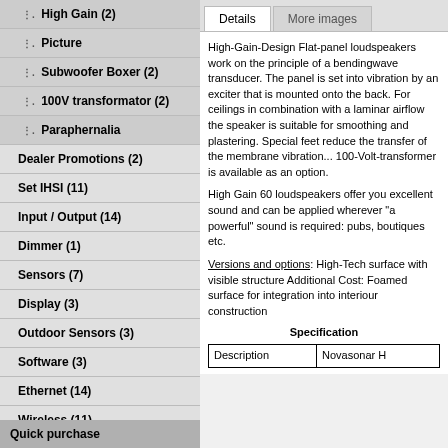High Gain (2)
Picture
Subwoofer Boxer (2)
100V transformator (2)
Paraphernalia
Dealer Promotions (2)
Set IHSI (11)
Input / Output (14)
Dimmer (1)
Sensors (7)
Display (3)
Outdoor Sensors (3)
Software (3)
Ethernet (14)
Wireless (11)
IR - control/forwarding (8)
Details | More images
High-Gain-Design Flat-panel loudspeakers work on the principle of a bendingwave transducer. The panel is set into vibration by an exciter that is mounted onto the back. For ceilings in combination with a laminar airflow the speaker is suitable for smoothing and plastering. Special feet reduce the transfer of the membrane vibration... 100-Volt-transformer is available as an option.
High Gain 60 loudspeakers offer you excellent sound and can be applied wherever "a powerful" sound is required: pubs, boutiques etc.
Versions and options: High-Tech surface with visible structure Additional Cost: Foamed surface for integration into interiour construction
Specification
| Description | Novasonar H |
| --- | --- |